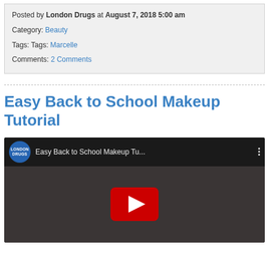Posted by London Drugs at August 7, 2018 5:00 am
Category: Beauty
Tags: Tags: Marcelle
Comments: 2 Comments
Easy Back to School Makeup Tutorial
[Figure (screenshot): Embedded YouTube video thumbnail showing a woman's face with London Drugs logo, title 'Easy Back to School Makeup Tu...' and a red play button in the center]